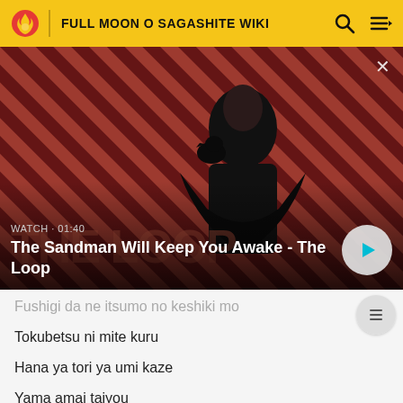FULL MOON O SAGASHITE WIKI
[Figure (screenshot): Video thumbnail showing a dark figure with a raven on a striped red/dark background. Text reads WATCH · 01:40 and title The Sandman Will Keep You Awake - The Loop. Play button on the right.]
Fushigi da ne itsumo no keshiki mo
Tokubetsu ni mite kuru
Hana ya tori ya umi kaze
Yama amai taiyou
Subete kagayaki yori sou naka